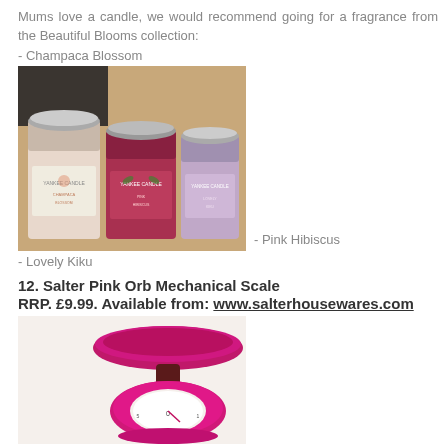Mums love a candle, we would recommend going for a fragrance from the Beautiful Blooms collection:
- Champaca Blossom
[Figure (photo): Three Yankee Candle small jars in pink and purple tones, likely Champaca Blossom, Pink Hibiscus, and Lovely Kiku, on a wooden surface]
- Pink Hibiscus
- Lovely Kiku
12. Salter Pink Orb Mechanical Scale
RRP. £9.99. Available from: www.salterhousewares.com
[Figure (photo): A pink/magenta Salter Orb mechanical kitchen scale with a bowl on top and a round dial at the bottom]